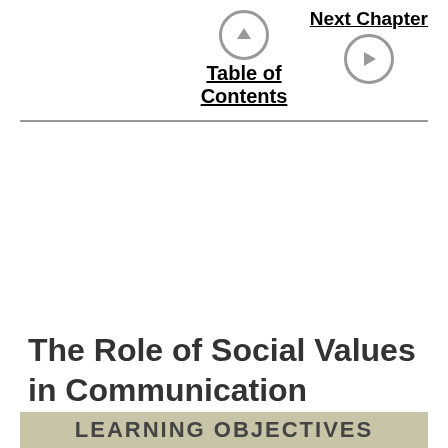Table of Contents  Next Chapter
The Role of Social Values in Communication
LEARNING OBJECTIVES